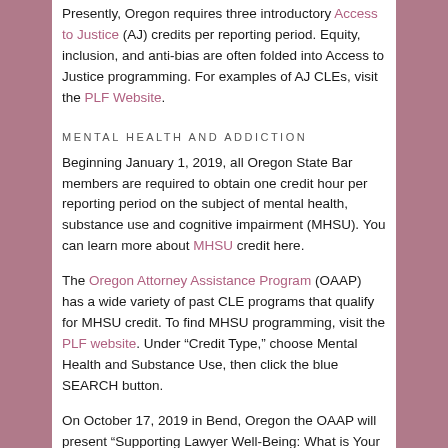Presently, Oregon requires three introductory Access to Justice (AJ) credits per reporting period. Equity, inclusion, and anti-bias are often folded into Access to Justice programming. For examples of AJ CLEs, visit the PLF Website.
MENTAL HEALTH AND ADDICTION
Beginning January 1, 2019, all Oregon State Bar members are required to obtain one credit hour per reporting period on the subject of mental health, substance use and cognitive impairment (MHSU). You can learn more about MHSU credit here.
The Oregon Attorney Assistance Program (OAAP) has a wide variety of past CLE programs that qualify for MHSU credit. To find MHSU programming, visit the PLF website. Under “Credit Type,” choose Mental Health and Substance Use, then click the blue SEARCH button.
On October 17, 2019 in Bend, Oregon the OAAP will present “Supporting Lawyer Well-Being: What is Your